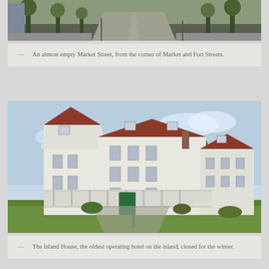[Figure (photo): An almost empty Market Street viewed from the corner of Market and Fort Streets, showing a tree-lined road receding into the distance]
— An almost empty Market Street, from the corner of Market and Fort Streets.
[Figure (photo): The Island House, a large white Victorian-era hotel with wraparound porch and multiple stories, closed for the winter, with a green historical marker sign in the foreground]
— The Island House, the oldest operating hotel on the island, closed for the winter.